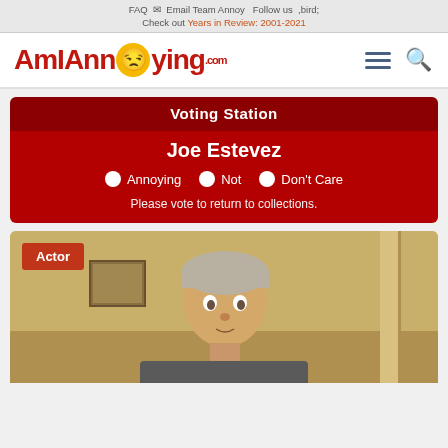FAQ  Email Team Annoy  Follow us
Check out Years in Review: 2001-2021
[Figure (logo): AmIAnnoying.com logo with angry face emoji in the O, red text, hamburger menu and search icon]
Voting Station
Joe Estevez
Annoying  Not  Don't Care
Please vote to return to collections.
[Figure (photo): Photo of Joe Estevez, an older man with grey hair, with an Actor badge overlay in the top left corner]